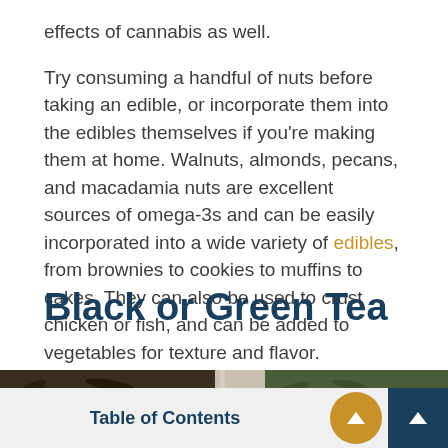effects of cannabis as well.
Try consuming a handful of nuts before taking an edible, or incorporate them into the edibles themselves if you’re making them at home. Walnuts, almonds, pecans, and macadamia nuts are excellent sources of omega-3s and can be easily incorporated into a wide variety of edibles, from brownies to cookies to muffins to cakes. They can also be used to crust chicken or fish, and can be added to vegetables for texture and flavor.
Black or Green Tea
[Figure (photo): Close-up photo of black tea leaves on the left and green tea leaves on the right]
Table of Contents